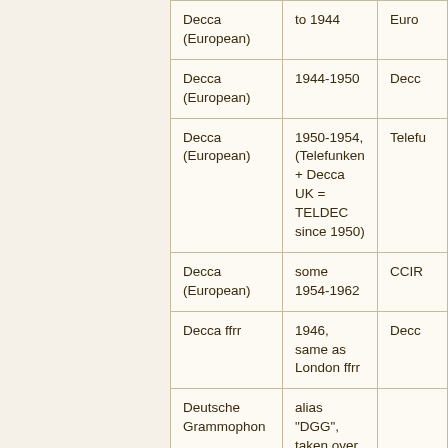| Label | Period/Notes | EQ/Standard |
| --- | --- | --- |
| Decca (European) | to 1944 | Euro... |
| Decca (European) | 1944-1950 | Decc... |
| Decca (European) | 1950-1954, (Telefunken + Decca UK = TELDEC since 1950) | Telefu... |
| Decca (European) | some 1954-1962 | CCIR... |
| Decca ffrr | 1946, same as London ffrr | Decc... |
| Deutsche Grammophon | alias "DGG", taken over by Telefunken 1937 |  |
| Deutsche Grammophon | 1944 ca. - 1953 ca. (???) | Euro... |
| Dial | 78s used same EQ as ... | Colum... |